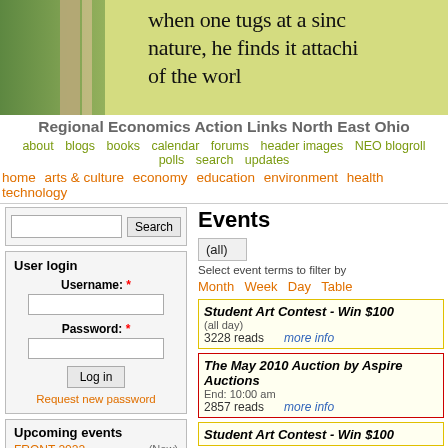[Figure (photo): Banner image with green/yellow background and handwritten-style text: 'when one tugs at a sinc nature, he finds it attachi of the worl']
Regional Economics Action Links North East Ohio
about  blogs  books  calendar  forums  header images  NEO blogroll  polls  search  updates
home  arts & culture  economy  education  environment  health  technology
Search
User login
Username: *
Password: *
Log in
Request new password
Upcoming events
FRONT 2022
(Now)
Events
(all)
Select event terms to filter by
Month  Week  Day  Table
Student Art Contest - Win $100
(all day)
3228 reads   more info
The May 2010 Auction by Aspire Auctions
End: 10:00 am
2857 reads   more info
Student Art Contest - Win $100